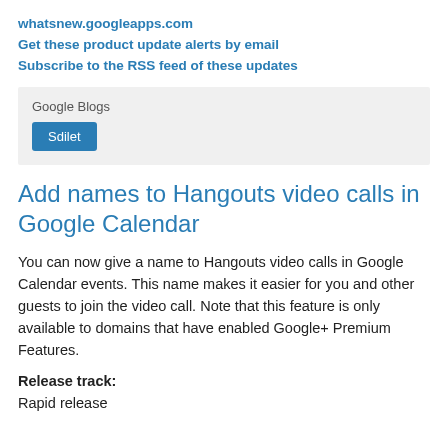whatsnew.googleapps.com
Get these product update alerts by email
Subscribe to the RSS feed of these updates
[Figure (screenshot): Gray box with 'Google Blogs' label and a blue 'Sdilet' button]
Add names to Hangouts video calls in Google Calendar
You can now give a name to Hangouts video calls in Google Calendar events. This name makes it easier for you and other guests to join the video call. Note that this feature is only available to domains that have enabled Google+ Premium Features.
Release track:
Rapid release